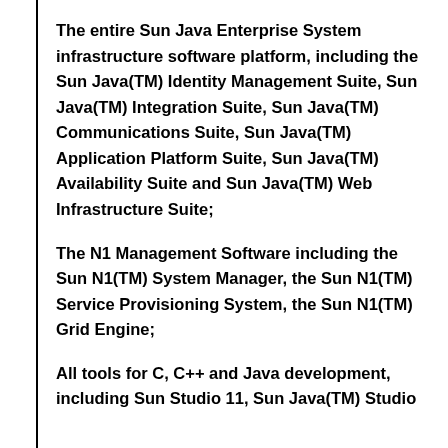The entire Sun Java Enterprise System infrastructure software platform, including the Sun Java(TM) Identity Management Suite, Sun Java(TM) Integration Suite, Sun Java(TM) Communications Suite, Sun Java(TM) Application Platform Suite, Sun Java(TM) Availability Suite and Sun Java(TM) Web Infrastructure Suite;
The N1 Management Software including the Sun N1(TM) System Manager, the Sun N1(TM) Service Provisioning System, the Sun N1(TM) Grid Engine;
All tools for C, C++ and Java development, including Sun Studio 11, Sun Java(TM) Studio